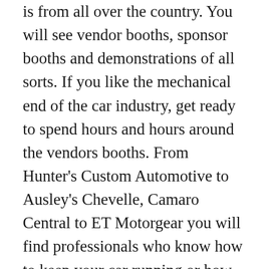is from all over the country. You will see vendor booths, sponsor booths and demonstrations of all sorts. If you like the mechanical end of the car industry, get ready to spend hours and hours around the vendors booths. From Hunter's Custom Automotive to Ausley's Chevelle, Camaro Central to ET Motorgear you will find professionals who know how to keep your car running or how to take your car from nice to fabulous. You will have the opportunity to ask questions and get the answers that may make your car pain your car passion. Once you have gotten your fill from the vendors, head back to the strip.
The parade of cars is continuous but, especially at night, you will get to experience the